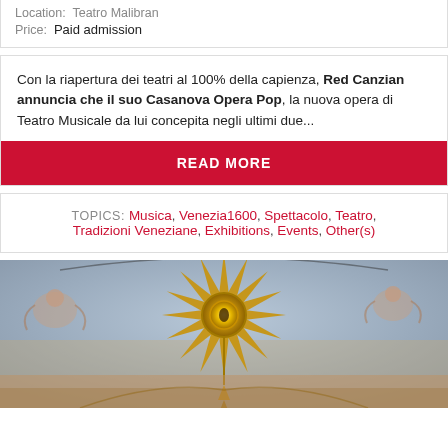Location:  Teatro Malibran
Price:  Paid admission
Con la riapertura dei teatri al 100% della capienza, Red Canzian annuncia che il suo Casanova Opera Pop, la nuova opera di Teatro Musicale da lui concepita negli ultimi due...
READ MORE
TOPICS: Musica, Venezia1600, Spettacolo, Teatro, Tradizioni Veneziane, Exhibitions, Events, Other(s)
[Figure (photo): Ornate baroque ceiling fresco with a central golden star/sunburst ornament and painted figures/angels on the sides, photographed from below]